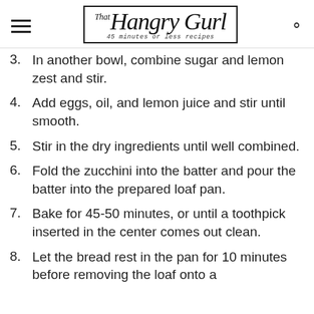That Hangry Gurl — 45 minutes or less recipes
3. In another bowl, combine sugar and lemon zest and stir.
4. Add eggs, oil, and lemon juice and stir until smooth.
5. Stir in the dry ingredients until well combined.
6. Fold the zucchini into the batter and pour the batter into the prepared loaf pan.
7. Bake for 45-50 minutes, or until a toothpick inserted in the center comes out clean.
8. Let the bread rest in the pan for 10 minutes before removing the loaf onto a